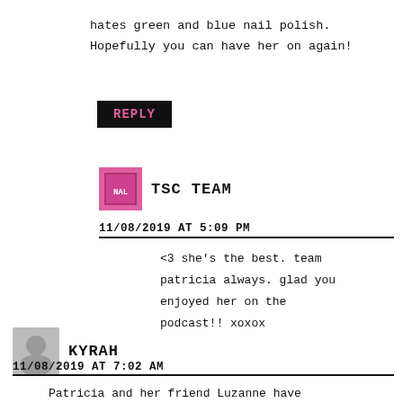hates green and blue nail polish. Hopefully you can have her on again!
REPLY
TSC TEAM
11/08/2019 AT 5:09 PM
<3 she's the best. team patricia always. glad you enjoyed her on the podcast!! xoxox
KYRAH
11/08/2019 AT 7:02 AM
Patricia and her friend Luzanne have